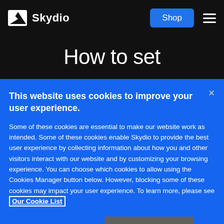Skydio | Shop
How to set
This website uses cookies to improve your user experience.
Some of these cookies are essential to make our website work as intended. Some of these cookies enable Skydio to provide the best user experience by collecting information about how you and other visitors interact with our website and by customizing your browsing experience. You can choose which cookies to allow using the Cookies Manager button below. However, blocking some of these cookies may impact your user experience. To learn more, please see Our Cookie List
Cookies Manager | Accept All Cookies